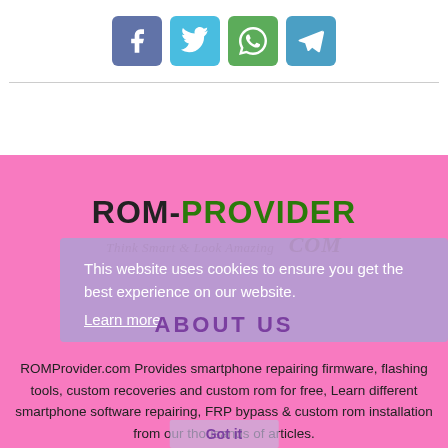[Figure (infographic): Four social media share icons: Facebook (blue-purple), Twitter (light blue), WhatsApp (green), Telegram (blue). Square rounded buttons with white icons.]
[Figure (logo): ROM-PROVIDER.COM logo with tagline 'Think Smart & Look Amazing' on pink background]
ABOUT US
This website uses cookies to ensure you get the best experience on our website.
Learn more
ROMProvider.com Provides smartphone repairing firmware, flashing tools, custom recoveries and custom rom for free, Learn different smartphone software repairing, FRP bypass & custom rom installation from our thousands of articles.